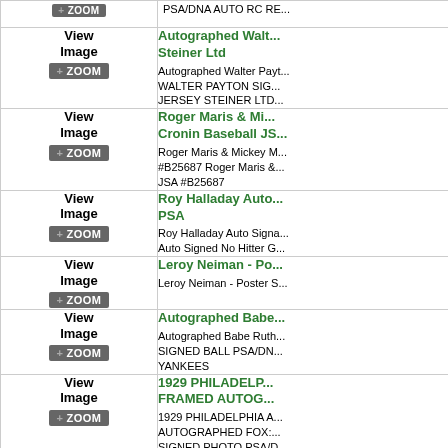| Image | Item Description |
| --- | --- |
| [partial top row] | PSA/DNA AUTO RC RE... |
| View Image [ZOOM] | Autographed Walter Payton...
WALTER PAYTON SIG...
JERSEY STEINER LTD... |
| View Image [ZOOM] | Roger Maris & Mi...
Cronin Baseball JS...
Roger Maris & Mickey M...
#B25687 Roger Maris &...
JSA #B25687 |
| View Image [ZOOM] | Roy Halladay Auto...
PSA
Roy Halladay Auto Signa...
Auto Signed No Hitter G... |
| View Image [ZOOM] | Leroy Neiman - Po...
Leroy Neiman - Poster S... |
| View Image [ZOOM] | Autographed Babe...
Autographed Babe Ruth...
SIGNED BALL PSA/DN...
YANKEES |
| View Image [ZOOM] | 1929 PHILADELP...
FRAMED AUTOG...
1929 PHILADELPHIA A...
AUTOGRAPHED FOX:...
SIGNED PHOTO PSA/D...
GROVE |
| View Image [ZOOM] | Autographed Roge...
Autographed Roger Mari...
Signed AL Baseball JSA... |